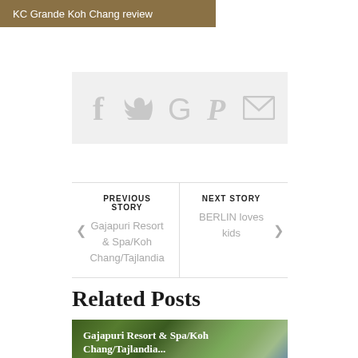KC Grande Koh Chang review
[Figure (infographic): Social share icons: Facebook, Twitter, Google+, Pinterest, Email on a light grey background]
PREVIOUS STORY
Gajapuri Resort & Spa/Koh Chang/Tajlandia
NEXT STORY
BERLIN loves kids
Related Posts
[Figure (photo): Tropical jungle resort image with palm trees and thatched roof bungalow, captioned 'Gajapuri Resort & Spa/Koh Chang/Tajlandia...']